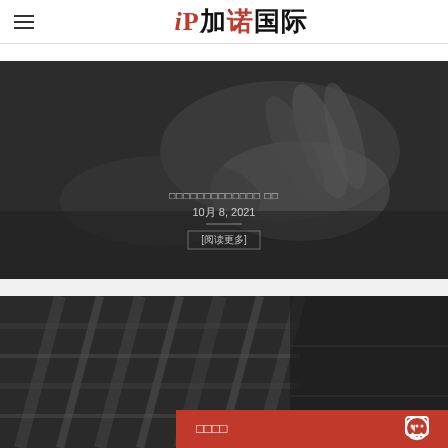iP加诺国际
[Figure (photo): Dark grayscale photo of hands on a table, with overlay text showing a Chinese article title, date '10月8, 2021', and a bracketed link [阅读更多]]
[Figure (photo): Dark grayscale photo of a plaid fabric/shirt on a wooden surface, partially visible, with a red bar overlay at the bottom showing Chinese text and chat icon]